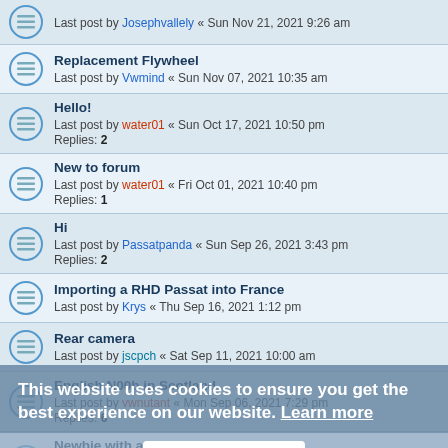Replacement Flywheel — Last post by Vwmind « Sun Nov 07, 2021 10:35 am
Hello! — Last post by water01 « Sun Oct 17, 2021 10:50 pm — Replies: 2
New to forum — Last post by water01 « Fri Oct 01, 2021 10:40 pm — Replies: 1
Hi — Last post by Passatpanda « Sun Sep 26, 2021 3:43 pm — Replies: 2
Importing a RHD Passat into France — Last post by Krys « Thu Sep 16, 2021 1:12 pm
Rear camera — Last post by jscpch « Sat Sep 11, 2021 10:00 am
English N00b in Scotland — Last post by vwnutant « Mon Sep 06, 2021 7:29 pm — Replies: 6
Newbie with a 2008 B6 2.0tdi — Last post by vwnutant « Mon Sep 06, 2021 7:28 pm — Replies: 6
Newbie from Hungary — Last post by vwnutant « Mon Sep 06, 2021 7:27 pm — Replies: 4
This website uses cookies to ensure you get the best experience on our website. Learn more
Got it!